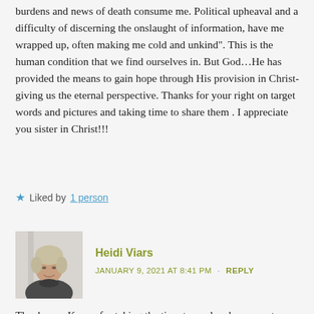burdens and news of death consume me. Political upheaval and a difficulty of discerning the onslaught of information, have me wrapped up, often making me cold and unkind". This is the human condition that we find ourselves in. But God…He has provided the means to gain hope through His provision in Christ- giving us the eternal perspective. Thanks for your right on target words and pictures and taking time to share them . I appreciate you sister in Christ!!!
Liked by 1 person
[Figure (photo): Profile photo of Heidi Viars, a woman with short blonde/grey hair, smiling, wearing a dark top]
Heidi Viars
JANUARY 9, 2021 AT 8:41 PM · REPLY
Thank you, Karen, for taking the time to read and comment. Yes… BUT God. Our only Hope is in Him … on our own, without the help of the Holy Spirit, we